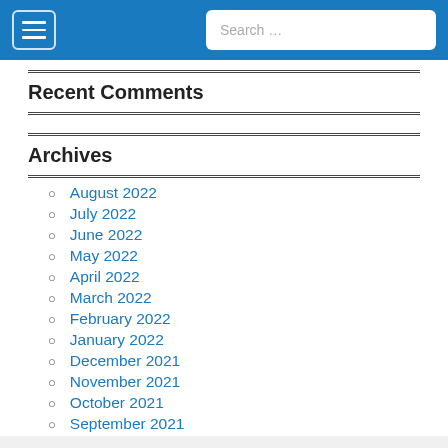Search …
Recent Comments
Archives
August 2022
July 2022
June 2022
May 2022
April 2022
March 2022
February 2022
January 2022
December 2021
November 2021
October 2021
September 2021